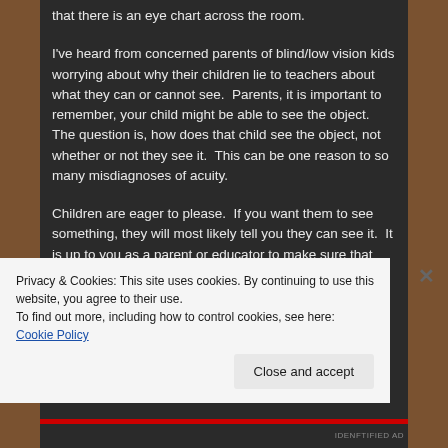that there is an eye chart across the room.
I've heard from concerned parents of blind/low vision kids worrying about why their children lie to teachers about what they can or cannot see. Parents, it is important to remember, your child might be able to see the object. The question is, how does that child see the object, not whether or not they see it. This can be one reason to so many misdiagnoses of acuity.
Children are eager to please. If you want them to see something, they will most likely tell you they can see it. It is up to you as a parent or educator to make sure that child knows it's ok to not see.
Privacy & Cookies: This site uses cookies. By continuing to use this website, you agree to their use.
To find out more, including how to control cookies, see here: Cookie Policy
Close and accept